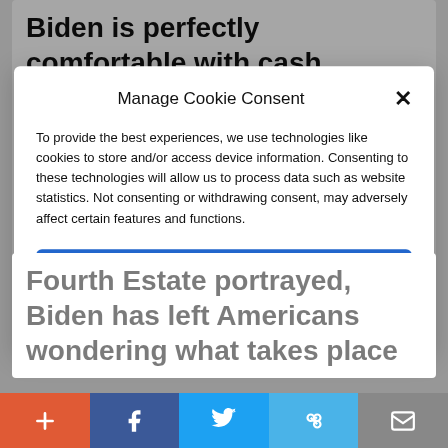Biden is perfectly comfortable with cash payouts to migrant families whose members were detained separately after illegally crossing the U.S.-Mexico
Manage Cookie Consent
To provide the best experiences, we use technologies like cookies to store and/or access device information. Consenting to these technologies will allow us to process data such as website statistics. Not consenting or withdrawing consent, may adversely affect certain features and functions.
Accept
Cookie Policy   Privacy Policy
Fourth Estate portrayed, Biden has left Americans wondering what takes place